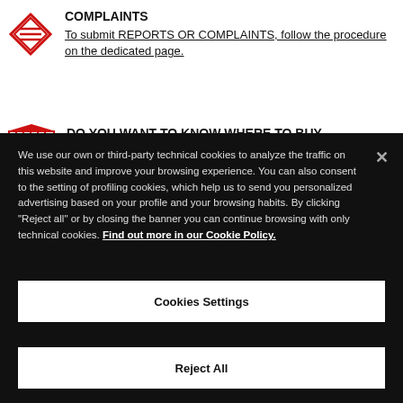COMPLAINTS
To submit REPORTS OR COMPLAINTS, follow the procedure on the dedicated page.
DO YOU WANT TO KNOW WHERE TO BUY
We use our own or third-party technical cookies to analyze the traffic on this website and improve your browsing experience. You can also consent to the setting of profiling cookies, which help us to send you personalized advertising based on your profile and your browsing habits. By clicking "Reject all" or by closing the banner you can continue browsing with only technical cookies. Find out more in our Cookie Policy.
Cookies Settings
Reject All